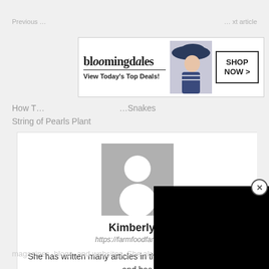Previous article    Next article
[Figure (screenshot): Bloomingdale's advertisement banner: 'View Today's Top Deals!' with woman in hat and SHOP NOW > button]
How T... Snakes String of Pearls Plant
[Figure (photo): Author profile card with silhouette avatar placeholder, name Kimberly C, URL https://farmfoodfamily.com, bio text about writing articles in home and garden field]
Kimberly C
https://farmfoodfamily.com
She has written many articles in the home and garden field and has also contributed to many home decorating and gardening magazines, blogs, and websites. She also has built a popular